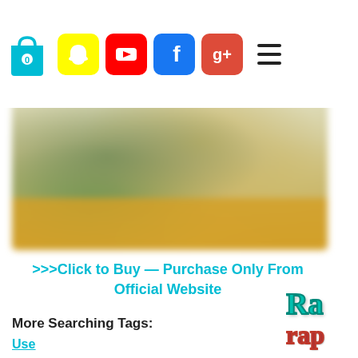[Figure (screenshot): Navigation bar with shopping bag icon, Snapchat, YouTube, Facebook, Google+ social media icons, and hamburger menu. Partial text visible at top right: 'you point!']
[Figure (photo): Blurred product image with golden/orange banner at bottom, product details obscured]
>>>Click to Buy — Purchase Only From Official Website
More Searching Tags:
Use
Buy
Cost
Price
Scam
Work
Benefits